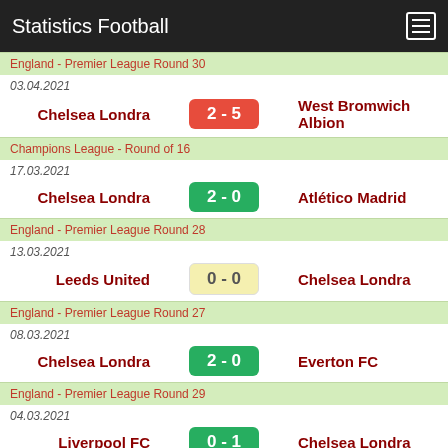Statistics Football
England - Premier League Round 30
03.04.2021
Chelsea Londra  2 - 5  West Bromwich Albion
Champions League - Round of 16
17.03.2021
Chelsea Londra  2 - 0  Atlético Madrid
England - Premier League Round 28
13.03.2021
Leeds United  0 - 0  Chelsea Londra
England - Premier League Round 27
08.03.2021
Chelsea Londra  2 - 0  Everton FC
England - Premier League Round 29
04.03.2021
Liverpool FC  0 - 1  Chelsea Londra
England - Premier League Round 26
28.02.2021
Chelsea Londra  0 - 0  Manchester United